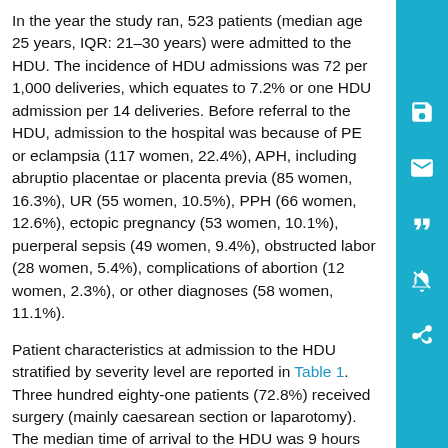In the year the study ran, 523 patients (median age 25 years, IQR: 21–30 years) were admitted to the HDU. The incidence of HDU admissions was 72 per 1,000 deliveries, which equates to 7.2% or one HDU admission per 14 deliveries. Before referral to the HDU, admission to the hospital was because of PE or eclampsia (117 women, 22.4%), APH, including abruptio placentae or placenta previa (85 women, 16.3%), UR (55 women, 10.5%), PPH (66 women, 12.6%), ectopic pregnancy (53 women, 10.1%), puerperal sepsis (49 women, 9.4%), obstructed labor (28 women, 5.4%), complications of abortion (12 women, 2.3%), or other diagnoses (58 women, 11.1%).
Patient characteristics at admission to the HDU stratified by severity level are reported in Table 1. Three hundred eighty-one patients (72.8%) received surgery (mainly caesarean section or laparotomy). The median time of arrival to the HDU was 9 hours (IQR: 3–38 hours), but it should be noted that this variable was often not reported (only in 39% of records). The most frequent reasons for referral to the HDU were hemodynamic instability (56.7%) and sepsis (12.4%). Half of the patients were alert at referral (51.3%), but the majority had a red OEWS (65.1%).